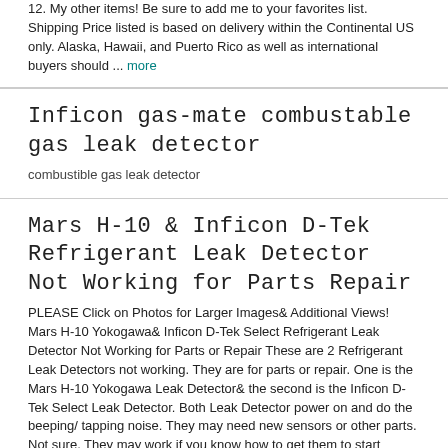12. My other items! Be sure to add me to your favorites list. Shipping Price listed is based on delivery within the Continental US only. Alaska, Hawaii, and Puerto Rico as well as international buyers should ... more
Inficon gas-mate combustable gas leak detector
combustible gas leak detector
Mars H-10 & Inficon D-Tek Refrigerant Leak Detector Not Working for Parts Repair
PLEASE Click on Photos for Larger Images& Additional Views! Mars H-10 Yokogawa& Inficon D-Tek Select Refrigerant Leak Detector Not Working for Parts or Repair These are 2 Refrigerant Leak Detectors not working. They are for parts or repair. One is the Mars H-10 Yokogawa Leak Detector& the second is the Inficon D-Tek Select Leak Detector. Both Leak Detector power on and do the beeping/ tapping noise. They may need new sensors or other parts. Not sure. They may work if you know how to get them to start working. I listed with a low price. Shipping is $26 NO RETURNS FOR PARTS OR REPAIR! Thanks for looking! BIDDING AND TERMS OF SALE: PLEASE READ BEFORE BIDDING! BY PLACING A BID ON THIS ITEM YOU ARE AGREEING TO YOUR ACKNOWLEDGMENT AND ACCEPTANCE OF THESE TERMS. BEING SOLD AS IS NO RETURNS. ALL SALES ARE FINAL! PLEASE Click on Photos ... more